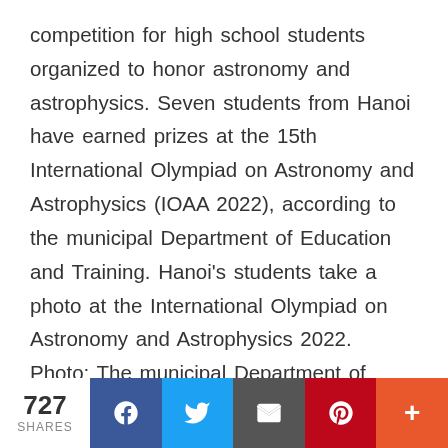competition for high school students organized to honor astronomy and astrophysics. Seven students from Hanoi have earned prizes at the 15th International Olympiad on Astronomy and Astrophysics (IOAA 2022), according to the municipal Department of Education and Training. Hanoi's students take a photo at the International Olympiad on Astronomy and Astrophysics 2022. Photo: The municipal Department of Education and Training Nine members of the delegation are all students from physics-specialized classes of the Hanoi- Amsterdam High School for the Gifted. The medals include one silver, five bronze and one consolation prize. The student who won the silver
727 SHARES | Facebook | Twitter | Email | Pinterest | More